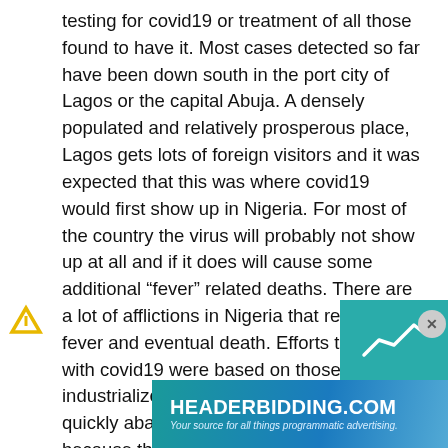testing for covid19 or treatment of all those found to have it. Most cases detected so far have been down south in the port city of Lagos or the capital Abuja. A densely populated and relatively prosperous place, Lagos gets lots of foreign visitors and it was expected that this was where covid19 would first show up in Nigeria. For most of the country the virus will probably not show up at all and if it does will cause some additional “fever” related deaths. There are a lot of afflictions in Nigeria that result in a fever and eventual death. Efforts to deal with covid19 were based on those in industrialized and urban nations, but were quickly abandoned in most of the country because there were so few covid19 victims. The most useful advice was warning people to stay away from anyone who appears to be infected. This resulted in some wide
[Figure (logo): HEADERBIDDING.COM advertisement banner - Your source for all things programmatic advertising.]